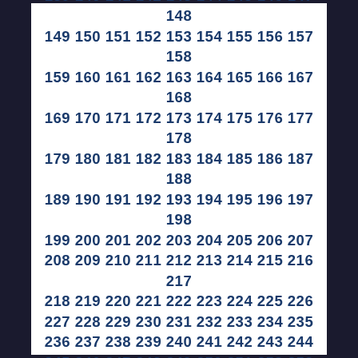108 109 110 111 112 113 114 115 116 117 118 119 120 121 122 123 124 125 126 127 128 129 130 131 132 133 134 135 136 137 138 139 140 141 142 143 144 145 146 147 148 149 150 151 152 153 154 155 156 157 158 159 160 161 162 163 164 165 166 167 168 169 170 171 172 173 174 175 176 177 178 179 180 181 182 183 184 185 186 187 188 189 190 191 192 193 194 195 196 197 198 199 200 201 202 203 204 205 206 207 208 209 210 211 212 213 214 215 216 217 218 219 220 221 222 223 224 225 226 227 228 229 230 231 232 233 234 235 236 237 238 239 240 241 242 243 244 245 246 247 248 249 250 251 252 253 254 255 256 257 258 259 260 261 262 263 264 265 266 267 268 269 270 271 272 273 274 275 276 277 278 279 280 281 282 283 284 285 286 287 288 289 290 291 292 293 294 295 296 297 298 299 300 ...